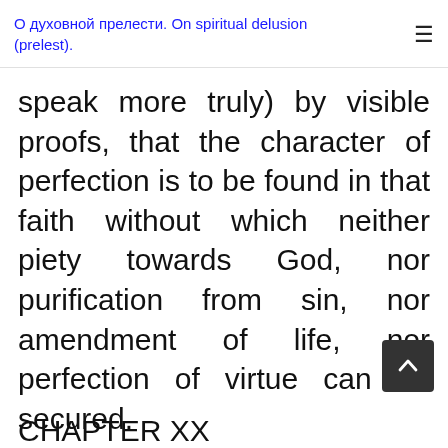О духовной прелести. On spiritual delusion (prelest).
speak more truly) by visible proofs, that the character of perfection is to be found in that faith without which neither piety towards God, nor purification from sin, nor amendment of life, nor perfection of virtue can be secured.
CHAPTER XX